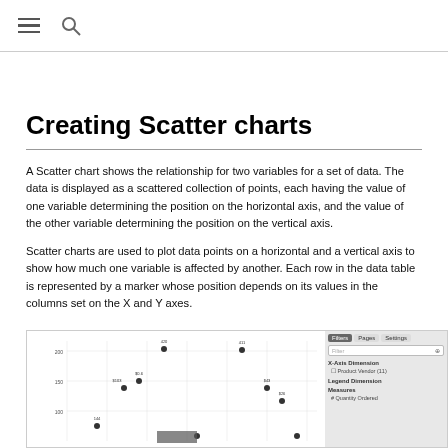Creating Scatter charts
A Scatter chart shows the relationship for two variables for a set of data. The data is displayed as a scattered collection of points, each having the value of one variable determining the position on the horizontal axis, and the value of the other variable determining the position on the vertical axis.
Scatter charts are used to plot data points on a horizontal and a vertical axis to show how much one variable is affected by another. Each row in the data table is represented by a marker whose position depends on its values in the columns set on the X and Y axes.
[Figure (screenshot): Screenshot of a scatter chart in a BI tool showing data points plotted with product vendor on X-axis and Quantity Ordered on Y-axis, with a right-side panel showing Filters, Pages, and Settings tabs with X-Axis Dimension set to Product Vendor (11), Legend Dimension, and Measures including Quantity Ordered.]